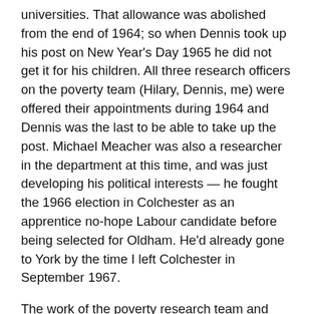universities. That allowance was abolished from the end of 1964; so when Dennis took up his post on New Year's Day 1965 he did not get it for his children. All three research officers on the poverty team (Hilary, Dennis, me) were offered their appointments during 1964 and Dennis was the last to be able to take up the post. Michael Meacher was also a researcher in the department at this time, and was just developing his political interests — he fought the 1966 election in Colchester as an apprentice no-hope Labour candidate before being selected for Oldham. He'd already gone to York by the time I left Colchester in September 1967.
The work of the poverty research team and what I learnt at Essex made an enormous contribution to my entire subsequent career in poverty theory and method, as can be seen on my personal website